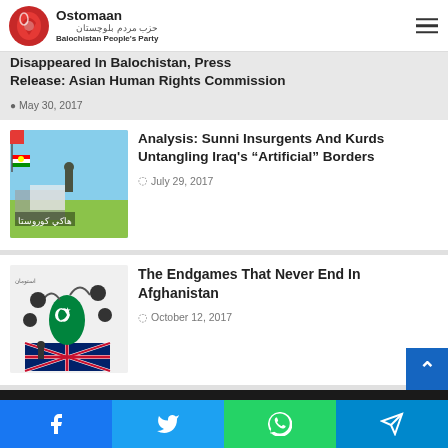Ostomaan — Balochistan People's Party
Disappeared In Balochistan, Press Release: Asian Human Rights Commission
May 30, 2017
[Figure (photo): Kurdish flag and soldier in field, related to Iraq story]
Analysis: Sunni Insurgents And Kurds Untangling Iraq's "Artificial" Borders
July 29, 2017
[Figure (illustration): Political cartoon about Afghanistan showing figures with Pakistan flag]
The Endgames That Never End In Afghanistan
October 12, 2017
Facebook Twitter WhatsApp Telegram